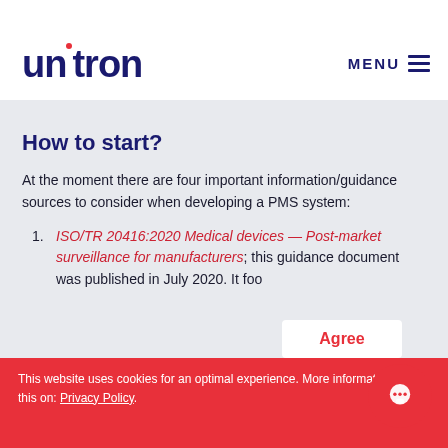unitron | MENU
How to start?
At the moment there are four important information/guidance sources to consider when developing a PMS system:
ISO/TR 20416:2020 Medical devices — Post-market surveillance for manufacturers; this guidance document was published in July 2020. It foo...
This website uses cookies for an optimal experience. More informatie about this on: Privacy Policy.